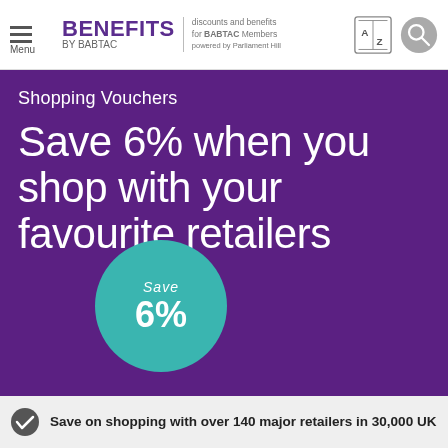BENEFITS BY BABTAC — discounts and benefits for BABTAC Members — powered by Parliament Hill
Shopping Vouchers
Save 6% when you shop with your favourite retailers
[Figure (infographic): Teal circle badge with text 'Save 6%']
Save on shopping with over 140 major retailers in 30,000 UK